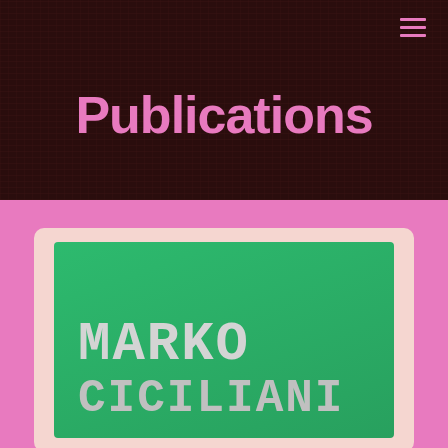≡
Publications
[Figure (illustration): Book cover with green background showing 'MARKO CICILIANI' in large monospace font, displayed inside a pink card on a pink background]